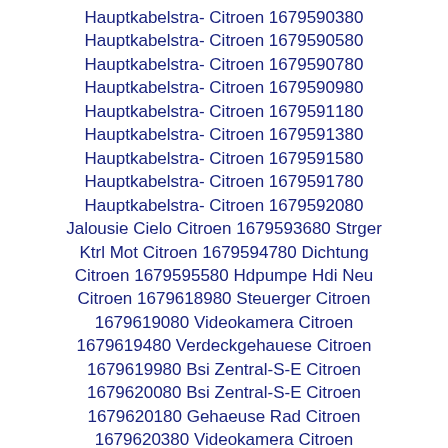Hauptkabelstra- Citroen 1679590380
Hauptkabelstra- Citroen 1679590580
Hauptkabelstra- Citroen 1679590780
Hauptkabelstra- Citroen 1679590980
Hauptkabelstra- Citroen 1679591180
Hauptkabelstra- Citroen 1679591380
Hauptkabelstra- Citroen 1679591580
Hauptkabelstra- Citroen 1679591780
Hauptkabelstra- Citroen 1679592080
Jalousie Cielo Citroen 1679593680 Strger Ktrl Mot Citroen 1679594780 Dichtung Citroen 1679595580 Hdpumpe Hdi Neu Citroen 1679618980 Steuerger Citroen 1679619080 Videokamera Citroen 1679619480 Verdeckgehauese Citroen 1679619980 Bsi Zentral-S-E Citroen 1679620080 Bsi Zentral-S-E Citroen 1679620180 Gehaeuse Rad Citroen 1679620380 Videokamera Citroen